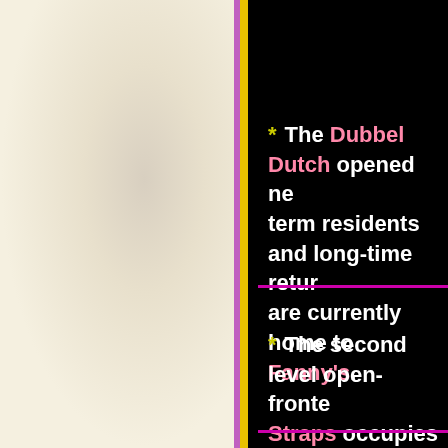* The Dubbel Dutch opened ne… term residents and long-time retur… are currently home to Fanny's.
* The second level open-fronte… Straps occupies those premises.